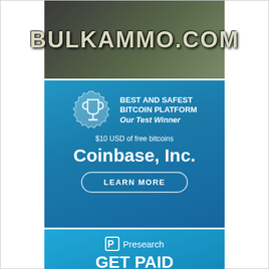[Figure (illustration): BulkAmmo.com advertisement banner with dark camouflage background and large stylized text reading BULKAMMO.COM]
[Figure (illustration): Coinbase Inc. cryptocurrency advertisement. Blue gradient background with trophy badge icon, text: BEST AND SAFEST BITCOIN PLATFORM Our Test Winner, $10 USD of free bitcoins, Coinbase, Inc., LEARN MORE button]
[Figure (illustration): Presearch advertisement. Blue gradient background with Presearch logo and text: GET PAID TO SEARCH. Presearch is a decentralized search engine, powered by the community. Learn More button. Tablet device showing Presearch search bar.]